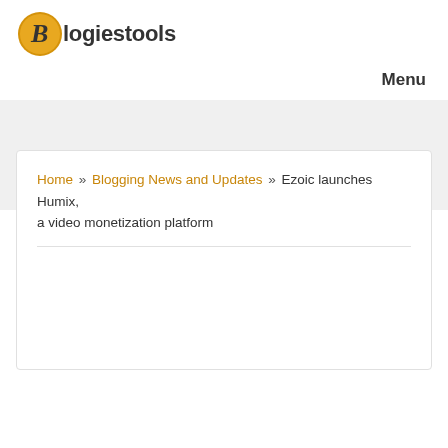Blogiestools
Menu
Home » Blogging News and Updates » Ezoic launches Humix, a video monetization platform